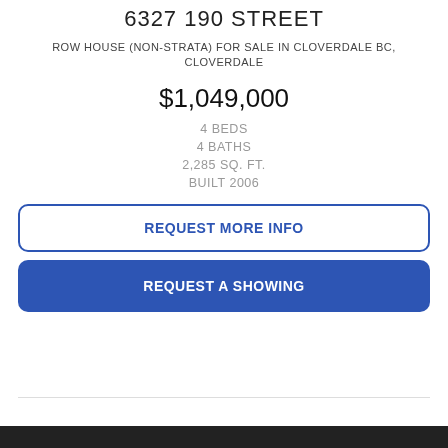6327 190 STREET
ROW HOUSE (NON-STRATA) FOR SALE IN CLOVERDALE BC, CLOVERDALE
$1,049,000
4 BEDS
4 BATHS
2,285 SQ. FT.
BUILT 2006
REQUEST MORE INFO
REQUEST A SHOWING